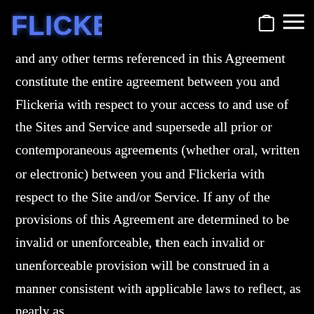Flickeria
and any other terms referenced in this Agreement constitute the entire agreement between you and Flickeria with respect to your access to and use of the Sites and Service and supersede all prior or contemporaneous agreements (whether oral, written or electronic) between you and Flickeria with respect to the Site and/or Service. If any of the provisions of this Agreement are determined to be invalid or unenforceable, then each invalid or unenforceable provision will be construed in a manner consistent with applicable laws to reflect, as nearly as